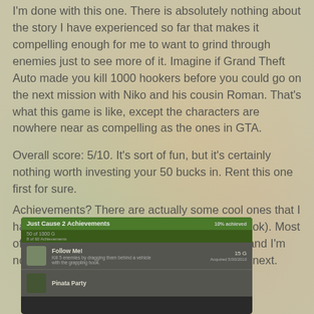I'm done with this one. There is absolutely nothing about the story I have experienced so far that makes it compelling enough for me to want to grind through enemies just to see more of it. Imagine if Grand Theft Auto made you kill 1000 hookers before you could go on the next mission with Niko and his cousin Roman. That's what this game is like, except the characters are nowhere near as compelling as the ones in GTA.
Overall score: 5/10. It's sort of fun, but it's certainly nothing worth investing your 50 bucks in. Rent this one first for sure.
Achievements? There are actually some cool ones that I had fun trying for (all involving the grappling hook). Most of them are related to game progress though, and I'm not interested in grinding to see what happens next.
[Figure (screenshot): Screenshot of Just Cause 2 Achievements page showing achievement list with 'Follow Me!' achievement (15G, Acquired 5/30/2010) and partial view of 'Pinata Party' achievement]